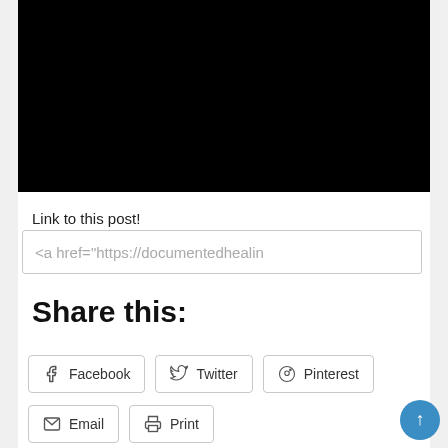[Figure (other): Black video embed placeholder rectangle at top of page]
Link to this post!
<a href="https://documentedhealin
Share this:
Facebook  Twitter  Pinterest
Email  Print